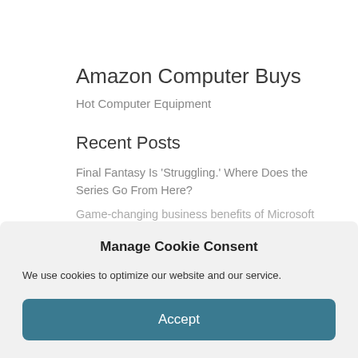Amazon Computer Buys
Hot Computer Equipment
Recent Posts
Final Fantasy Is 'Struggling.' Where Does the Series Go From Here?
Game-changing business benefits of Microsoft
Manage Cookie Consent
We use cookies to optimize our website and our service.
Accept